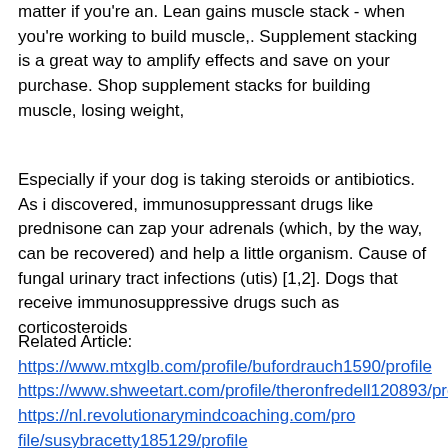matter if you're an. Lean gains muscle stack - when you're working to build muscle,. Supplement stacking is a great way to amplify effects and save on your purchase. Shop supplement stacks for building muscle, losing weight,
Especially if your dog is taking steroids or antibiotics. As i discovered, immunosuppressant drugs like prednisone can zap your adrenals (which, by the way, can be recovered) and help a little organism. Cause of fungal urinary tract infections (utis) [1,2]. Dogs that receive immunosuppressive drugs such as corticosteroids
Related Article: https://www.mtxglb.com/profile/bufordrauch1590/profile https://www.shweetart.com/profile/theronfredell120893/profile https://nl.revolutionarymindcoaching.com/profile/susybracetty185129/profile